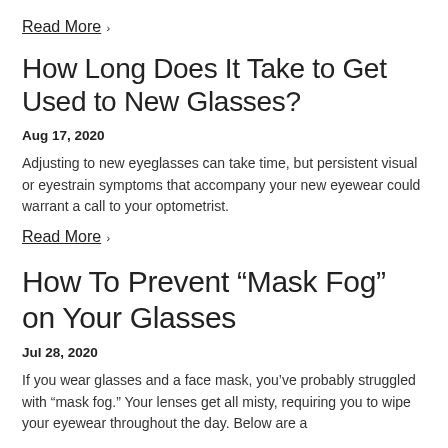Read More ›
How Long Does It Take to Get Used to New Glasses?
Aug 17, 2020
Adjusting to new eyeglasses can take time, but persistent visual or eyestrain symptoms that accompany your new eyewear could warrant a call to your optometrist.
Read More ›
How To Prevent “Mask Fog” on Your Glasses
Jul 28, 2020
If you wear glasses and a face mask, you’ve probably struggled with “mask fog.” Your lenses get all misty, requiring you to wipe your eyewear throughout the day. Below are a